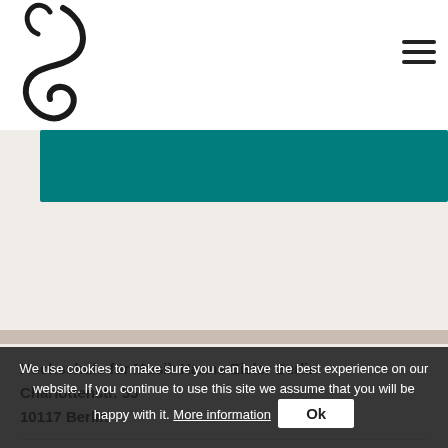[Figure (logo): Hochschule für Musik Hanns Eisler Berlin logo mark (stylized treble clef / figure) in dark color, top left]
[Figure (other): Teal/dark cyan horizontal banner bar]
Hochschule für Musik Hanns Eisler Berlin
Charlottenstr. 55
10117 Berlin
+49 (0)30 688305-700
send Email
People
We use cookies to make sure you can have the best experience on our website. If you continue to use this site we assume that you will be happy with it. More information  Ok